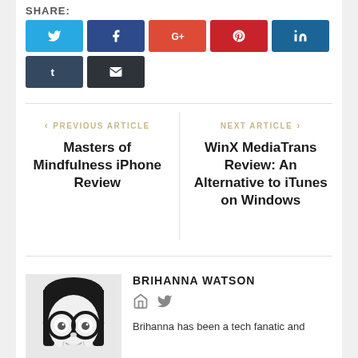SHARE:
[Figure (infographic): Social media share buttons: Twitter (blue), Facebook (dark blue), Google+ (orange-red), Pinterest (red), LinkedIn (blue), Tumblr (dark grey-blue), Email (dark grey)]
< PREVIOUS ARTICLE
Masters of Mindfulness iPhone Review
NEXT ARTICLE >
WinX MediaTrans Review: An Alternative to iTunes on Windows
[Figure (photo): Black and white portrait photo of Brihanna Watson, a woman with bangs and large round glasses, smiling slightly]
BRIHANNA WATSON
[Figure (infographic): Author profile icons: home/website icon and Twitter bird icon]
Brihanna has been a tech fanatic and